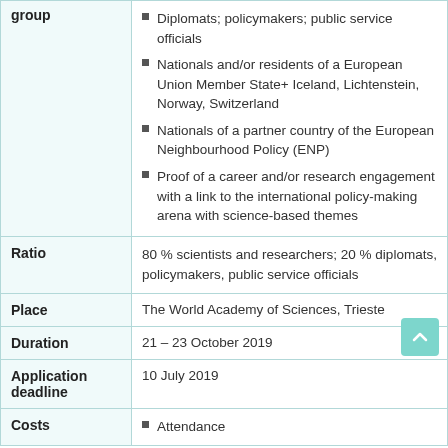| Field | Details |
| --- | --- |
| group | Diplomats; policymakers; public service officials
Nationals and/or residents of a European Union Member State+ Iceland, Lichtenstein, Norway, Switzerland
Nationals of a partner country of the European Neighbourhood Policy (ENP)
Proof of a career and/or research engagement with a link to the international policy-making arena with science-based themes |
| Ratio | 80 % scientists and researchers; 20 % diplomats, policymakers, public service officials |
| Place | The World Academy of Sciences, Trieste |
| Duration | 21 – 23 October 2019 |
| Application deadline | 10 July 2019 |
| Costs | Attendance |